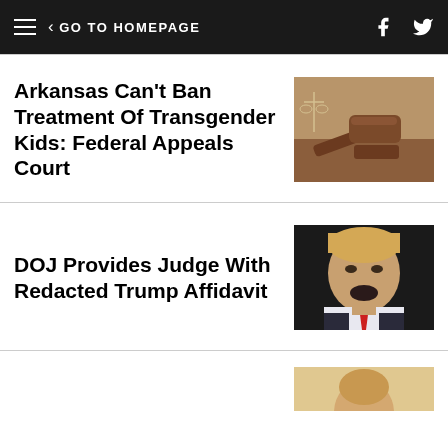GO TO HOMEPAGE
Arkansas Can't Ban Treatment Of Transgender Kids: Federal Appeals Court
[Figure (photo): A wooden judge's gavel resting on its sound block with scales of justice in the background]
DOJ Provides Judge With Redacted Trump Affidavit
[Figure (photo): Close-up photo of Donald Trump speaking, with dark background]
[Figure (photo): Partial photo at the bottom of the page, appears to show a person]